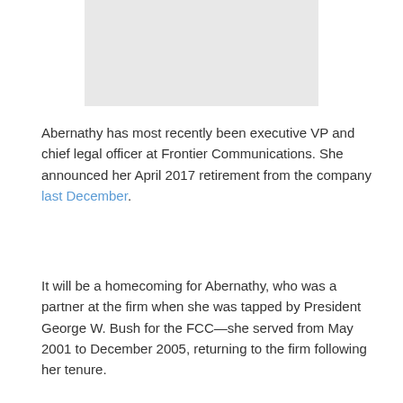[Figure (photo): Gray placeholder image box at the top center of the page]
Abernathy has most recently been executive VP and chief legal officer at Frontier Communications. She announced her April 2017 retirement from the company last December.
It will be a homecoming for Abernathy, who was a partner at the firm when she was tapped by President George W. Bush for the FCC—she served from May 2001 to December 2005, returning to the firm following her tenure.
Abernathy is also a former advisor to then-FCC